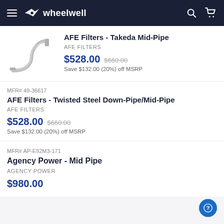wheelwell
[Figure (photo): Photo of a silver/chrome exhaust mid-pipe with a curved S-shape bend]
AFE Filters - Takeda Mid-Pipe
AFE FILTERS
$528.00 $660.00 Save $132.00 (20%) off MSRP
MFR# 49-36617
AFE Filters - Twisted Steel Down-Pipe/Mid-Pipe
AFE FILTERS
$528.00 $660.00 Save $132.00 (20%) off MSRP
MFR# AP-E92M3-171
Agency Power - Mid Pipe
AGENCY POWER
$980.00